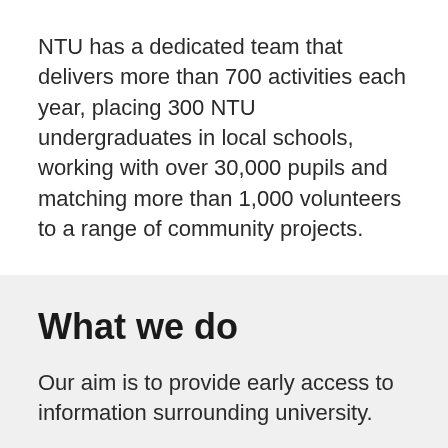NTU has a dedicated team that delivers more than 700 activities each year, placing 300 NTU undergraduates in local schools, working with over 30,000 pupils and matching more than 1,000 volunteers to a range of community projects.
What we do
Our aim is to provide early access to information surrounding university.
NTU's outreach work helps children and young people